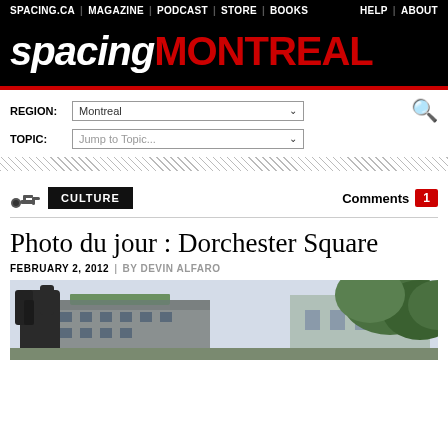SPACING.CA | MAGAZINE | PODCAST | STORE | BOOKS   HELP | ABOUT
spacing MONTREAL
REGION: Montreal   TOPIC: Jump to Topic...
CULTURE   Comments 1
Photo du jour : Dorchester Square
FEBRUARY 2, 2012 | BY DEVIN ALFARO
[Figure (photo): Outdoor photo of Dorchester Square in Montreal showing bare tree branches in foreground and historic buildings in background with green foliage on right side]